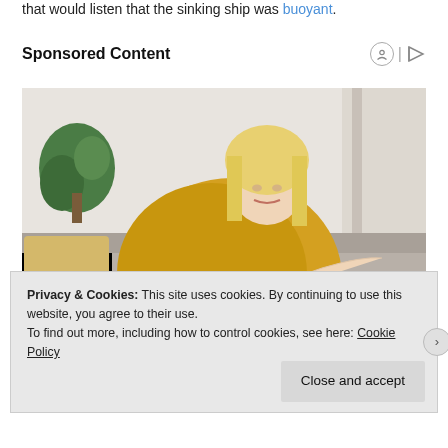that would listen that the sinking ship was buoyant.
Sponsored Content
[Figure (photo): A blonde woman in a yellow/mustard knit sweater sitting on a couch, looking down at her arm/elbow with a concerned expression. She has dark nail polish. Background shows a gray couch and plants.]
Privacy & Cookies: This site uses cookies. By continuing to use this website, you agree to their use.
To find out more, including how to control cookies, see here: Cookie Policy
Close and accept